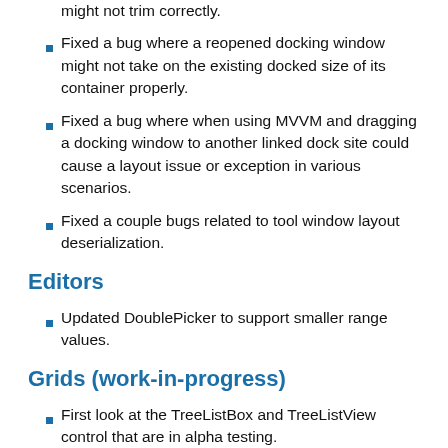might not trim correctly.
Fixed a bug where a reopened docking window might not take on the existing docked size of its container properly.
Fixed a bug where when using MVVM and dragging a docking window to another linked dock site could cause a layout issue or exception in various scenarios.
Fixed a couple bugs related to tool window layout deserialization.
Editors
Updated DoublePicker to support smaller range values.
Grids (work-in-progress)
First look at the TreeListBox and TreeListView control that are in alpha testing.